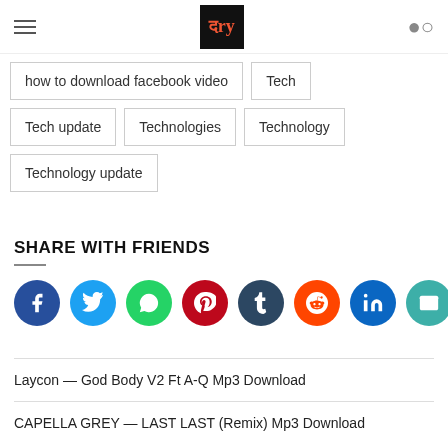[Hamburger menu] [Logo] [Search icon]
how to download facebook video
Tech
Tech update
Technologies
Technology
Technology update
SHARE WITH FRIENDS
[Figure (infographic): Row of 8 social share icon circles: Facebook (dark blue), Twitter (blue), WhatsApp (green), Pinterest (dark red), Tumblr (dark navy), Reddit (orange), LinkedIn (dark blue), Email (teal)]
Laycon — God Body V2 Ft A-Q Mp3 Download
CAPELLA GREY — LAST LAST (Remix) Mp3 Download